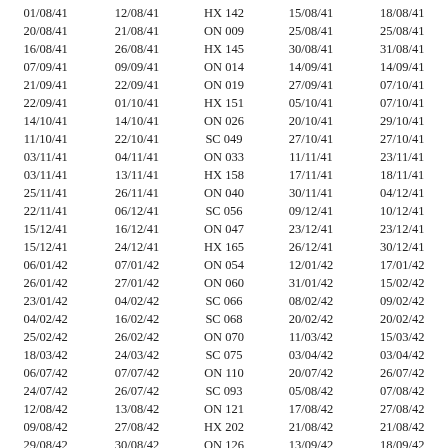| 01/08/41 | 12/08/41 | HX 142 | 15/08/41 | 18/08/41 |
| 20/08/41 | 21/08/41 | ON 009 | 25/08/41 | 25/08/41 |
| 16/08/41 | 26/08/41 | HX 145 | 30/08/41 | 31/08/41 |
| 07/09/41 | 09/09/41 | ON 014 | 14/09/41 | 14/09/41 |
| 21/09/41 | 22/09/41 | ON 019 | 27/09/41 | 07/10/41 |
| 22/09/41 | 01/10/41 | HX 151 | 05/10/41 | 07/10/41 |
| 14/10/41 | 14/10/41 | ON 026 | 20/10/41 | 29/10/41 |
| 11/10/41 | 22/10/41 | SC 049 | 27/10/41 | 27/10/41 |
| 03/11/41 | 04/11/41 | ON 033 | 11/11/41 | 23/11/41 |
| 03/11/41 | 13/11/41 | HX 158 | 17/11/41 | 18/11/41 |
| 25/11/41 | 26/11/41 | ON 040 | 30/11/41 | 04/12/41 |
| 22/11/41 | 06/12/41 | SC 056 | 09/12/41 | 10/12/41 |
| 15/12/41 | 16/12/41 | ON 047 | 23/12/41 | 23/12/41 |
| 15/12/41 | 24/12/41 | HX 165 | 26/12/41 | 30/12/41 |
| 06/01/42 | 07/01/42 | ON 054 | 12/01/42 | 17/01/42 |
| 26/01/42 | 27/01/42 | ON 060 | 31/01/42 | 15/02/42 |
| 23/01/42 | 04/02/42 | SC 066 | 08/02/42 | 09/02/42 |
| 04/02/42 | 16/02/42 | SC 068 | 20/02/42 | 20/02/42 |
| 25/02/42 | 26/02/42 | ON 070 | 11/03/42 | 15/03/42 |
| 18/03/42 | 24/03/42 | SC 075 | 03/04/42 | 03/04/42 |
| 06/07/42 | 07/07/42 | ON 110 | 20/07/42 | 26/07/42 |
| 24/07/42 | 26/07/42 | SC 093 | 05/08/42 | 07/08/42 |
| 12/08/42 | 13/08/42 | ON 121 | 17/08/42 | 27/08/42 |
| 09/08/42 | 27/08/42 | HX 202 | 21/08/42 | 21/08/42 |
| 29/08/42 | 30/08/42 | ON 126 | 13/09/42 | 18/09/42 |
| 13/09/42 | 16/09/42 | HX 207 | 24/09/42 | 25/09/42 |
| 11/10/42 | 13/10/42 | ON 138 | 28/10/42 | 03/11/42 |
| 26/10/42 | 31/10/42 | HX 213 | 08/11/42 | 10/11/42 |